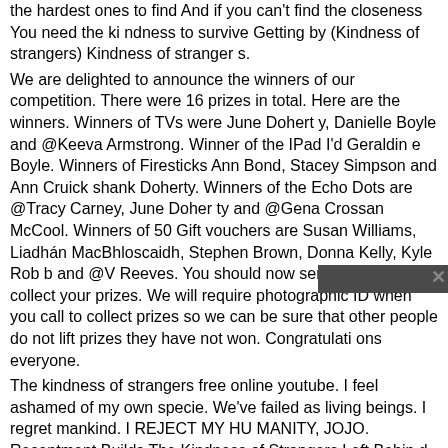the hardest ones to find And if you can't find the closeness You need the kindness to survive Getting by (Kindness of strangers) Kindness of strangers.
We are delighted to announce the winners of our competition. There were 16 prizes in total. Here are the winners. Winners of TVs were June Doherty, Danielle Boyle and @Keeva Armstrong. Winner of the IPad I'd Geraldine Boyle. Winners of Firesticks Ann Bond, Stacey Simpson and Ann Cruickshank Doherty. Winners of the Echo Dots are @Tracy Carney, June Doherty and @Gena Crossan McCool. Winners of 50 Gift vouchers are Susan Williams, Liadhán MacBhloscaidh, Stephen Brown, Donna Kelly, Kyle Robb and @V Reeves. You should now send us a PM to collect your prizes. We will require photographic ID when you call to collect prizes so we can be sure that other people do not lift prizes they have not won. Congratulations everyone.
The kindness of strangers free online youtube. I feel ashamed of my own specie. We've failed as living beings. I regret mankind. I REJECT MY HUMANITY, JOJO. Resentment Builds The Kindness of Strangers Left Behind German Soldiers The Camps Welcome Home I know what I have to do, ?the?man wrote in his diary. But even the prospect of what Georg Ferdinand Duckwitz had to do that day, September 28, 1943, would have left many lesser men petrified with fear. For Duckwitz, a high-level staff member of the German em- bassy in Copenhagen and a member of the Nazi Party, w